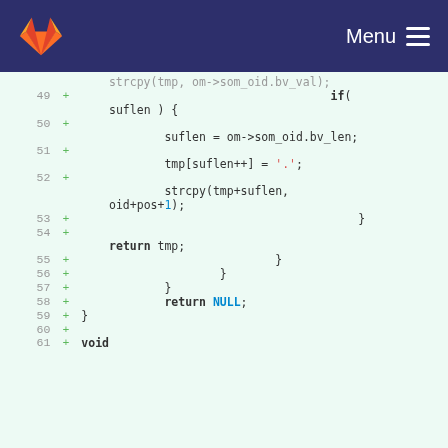[Figure (screenshot): GitLab navigation bar with logo and Menu icon]
Code diff viewer showing lines 49-61+ of a C source file with added lines (+). Lines include: strcpy(tmp, om->som_oid.bv_val); if(suflen) { suflen = om->som_oid.bv_len; tmp[suflen++] = '.'; strcpy(tmp+suflen, oid+pos+1); } return tmp; } } } return NULL; } void ...